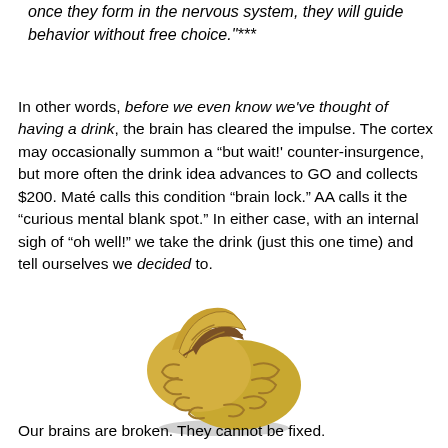once they form in the nervous system, they will guide behavior without free choice."***
In other words, before we even know we've thought of having a drink, the brain has cleared the impulse. The cortex may occasionally summon a “but wait!' counter-insurgence, but more often the drink idea advances to GO and collects $200. Maté calls this condition “brain lock.” AA calls it the “curious mental blank spot.” In either case, with an internal sigh of “oh well!” we take the drink (just this one time) and tell ourselves we decided to.
[Figure (illustration): A broken brain illustration showing a golden/yellow brain split open like a cracked shell, with the interior hollow and brown, casting a shadow below.]
Our brains are broken. They cannot be fixed.